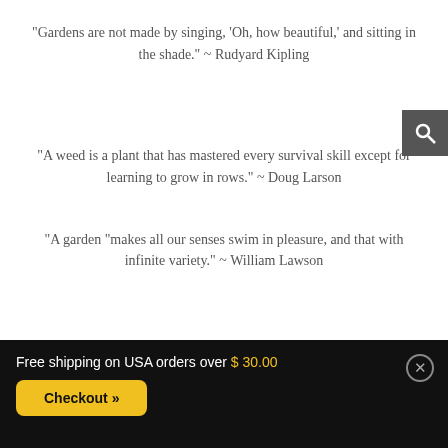“Gardens are not made by singing, ‘Oh, how beautiful,’ and sitting in the shade.” ~ Rudyard Kipling
“A weed is a plant that has mastered every survival skill except for learning to grow in rows.” ~ Doug Larson
“A garden “makes all our senses swim in pleasure, and that with infinite variety.” ~ William Lawson
Free shipping on USA orders over $ 30.00
Checkout »